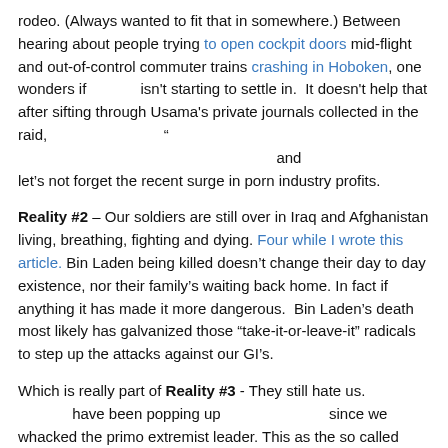rodeo. (Always wanted to fit that in somewhere.) Between hearing about people trying to open cockpit doors mid-flight and out-of-control commuter trains crashing in Hoboken, one wonders if isn't starting to settle in.  It doesn't help that after sifting through Usama's private journals collected in the raid, "
 and
let's not forget the recent surge in porn industry profits.
Reality #2 – Our soldiers are still over in Iraq and Afghanistan living, breathing, fighting and dying. Four while I wrote this article. Bin Laden being killed doesn't change their day to day existence, nor their family's waiting back home. In fact if anything it has made it more dangerous.  Bin Laden's death most likely has galvanized those "take-it-or-leave-it" radicals to step up the attacks against our GI's.
Which is really part of Reality #3 - They still hate us. have been popping up since we whacked the primo extremist leader. This as the so called peaceful block of Muslims, especially in our own country, were such a small collective voice, no one quite remembers hearing them react at all. No loud